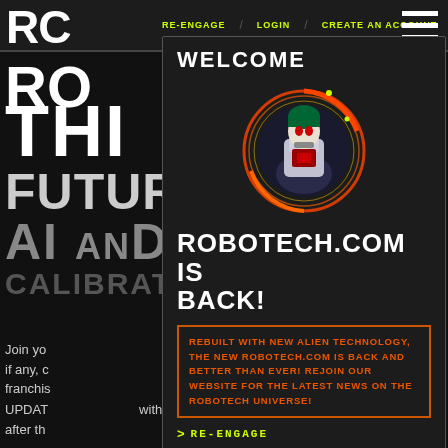RE-ENGAGE | LOGIN | CREATE AN ACCOUNT
[Figure (screenshot): Robotech.com website screenshot showing a welcome popup modal with anime robot character, navigation bar, and background large text. Modal contains welcome message, ROBOTECH.COM IS BACK! title, orange bordered text about alien technology rebuild, and green RE-ENGAGE and ENLIST NOW links.]
WELCOME
ROBOTECH.COM IS BACK!
REBUILT WITH NEW ALIEN TECHNOLOGY, THE NEW ROBOTECH.COM IS BACK AND BETTER THAN EVER! REJOIN OUR WEBSITE FOR THE LATEST NEWS ON THE ROBOTECH UNIVERSE!
> RE-ENGAGE
> ENLIST NOW
DON'T SHOW AGAIN